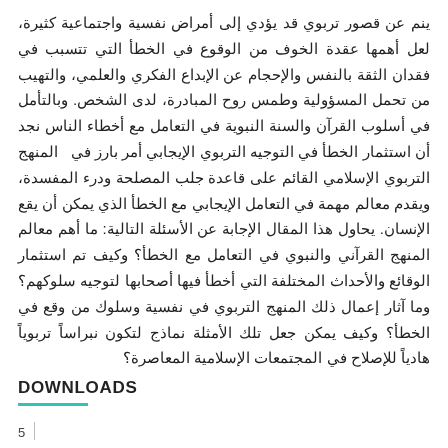ينم عن قصور تربوي قد يؤدي إلى أمراض نفسية واجتماعية كثيرة، لعل أهمها عقدة الخوف من الوقوع في الخطأ التي تتسبب في فقدان الثقة بالنفس والإحجام عن الإبداع الفكري والعلمي، والتهيب من تحمل المسؤولية وطمس روح المبادرة، لدى الشخص. وبالتأمل في أسلوب القرآن والسنة النبوية في التعامل مع أخطاء الناس نجد أن استثمار الخطأ في التوجيه التربوي الإيجابي أمر بارز في  المنهج التربوي الإسلامي القائم على قاعدة جلب المصلحة ودرء المفسدة، ويقدم معالم مهمة في التعامل الإيجابي مع الخطأ الذي يمكن أن يقع الإنسان. يحاول هذا المقال الإجابة عن الأسئلة التالية: ما أهم معالم المنهج القرآني والنبوي في التعامل مع الخطأ؟ وكيف تم استثمار الوقائع والأحداث المختلفة التي أخطأ فيها أصحابها لتوجيه سلوكهم؟ وما آثار إعمال ذلك المنهج التربوي في نفسية وسلوك من وقع في الخطأ؟ وكيف يمكن جعل تلك الأمثلة نماذج لتكون نبراساً تربوياً هادياً للإصلاح في المجتمعات الإسلامية المعاصرة؟
DOWNLOADS
5